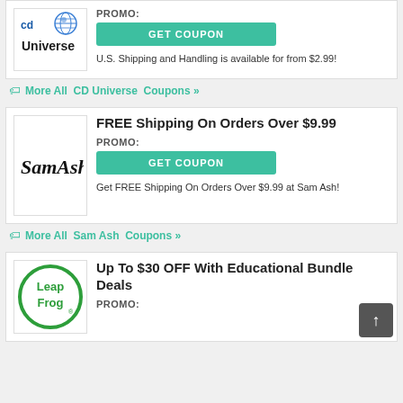[Figure (logo): CD Universe logo (cd Universe with a globe icon)]
PROMO:
GET COUPON
U.S. Shipping and Handling is available for from $2.99!
More All  CD Universe  Coupons »
[Figure (logo): Sam Ash logo in cursive black font]
FREE Shipping On Orders Over $9.99
PROMO:
GET COUPON
Get FREE Shipping On Orders Over $9.99 at Sam Ash!
More All  Sam Ash  Coupons »
[Figure (logo): LeapFrog logo — green circle with Leap Frog text]
Up To $30 OFF With Educational Bundle Deals
PROMO: